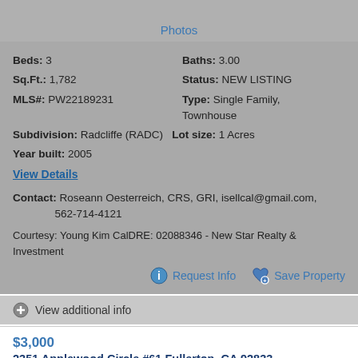Photos
Beds: 3    Baths: 3.00
Sq.Ft.: 1,782    Status: NEW LISTING
MLS#: PW22189231    Type: Single Family, Townhouse
Subdivision: Radcliffe (RADC)    Lot size: 1 Acres
Year built: 2005
View Details
Contact: Roseann Oesterreich, CRS, GRI, isellcal@gmail.com, 562-714-4121
Courtesy: Young Kim CalDRE: 02088346 - New Star Realty & Investment
Request Info
Save Property
View additional info
$3,000
2351 Applewood Circle #61 Fullerton, CA 92833